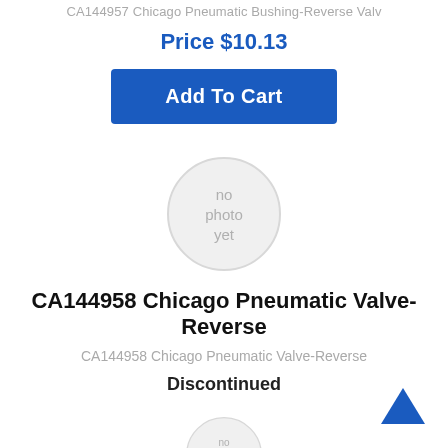CA144957 Chicago Pneumatic Bushing-Reverse Valv
Price $10.13
Add To Cart
[Figure (illustration): Circular placeholder image with text 'no photo yet' in gray]
CA144958 Chicago Pneumatic Valve-Reverse
CA144958 Chicago Pneumatic Valve-Reverse
Discontinued
[Figure (illustration): Circular placeholder image with text 'no photo yet' in gray (partially visible)]
[Figure (illustration): Blue chevron up arrow icon for scroll to top]